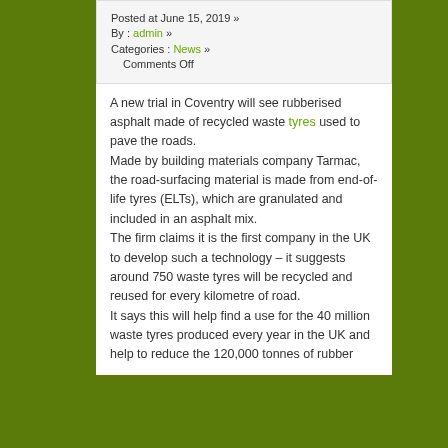Posted at June 15, 2019 »
By : admin »
Categories : News »
Comments Off
A new trial in Coventry will see rubberised asphalt made of recycled waste tyres used to pave the roads.
Made by building materials company Tarmac, the road-surfacing material is made from end-of-life tyres (ELTs), which are granulated and included in an asphalt mix.
The firm claims it is the first company in the UK to develop such a technology – it suggests around 750 waste tyres will be recycled and reused for every kilometre of road.
It says this will help find a use for the 40 million waste tyres produced every year in the UK and help to reduce the 120,000 tonnes of rubber